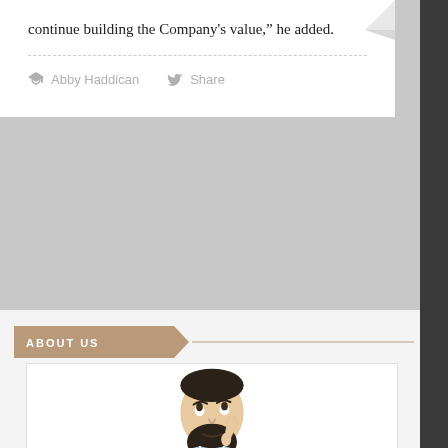continue building the Company’s value,” he added.
Abby Haddican   Share
ABOUT US
[Figure (photo): A bearded man in a light blue shirt looking upward thoughtfully with his finger on his chin, white background.]